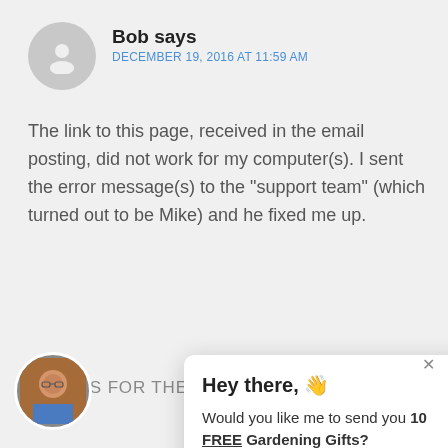[Figure (photo): Gray circular avatar placeholder with person silhouette icon]
Bob says
DECEMBER 19, 2016 AT 11:59 AM
The link to this page, received in the email posting, did not work for my computer(s). I sent the error message(s) to the "support team" (which turned out to be Mike) and he fixed me up.
THANKS FOR THE SUPPORT!
[Figure (screenshot): Popup modal with waving hand emoji: 'Hey there, Would you like me to send you 10 FREE Gardening Gifts?' with orange YES, PLEASE! button and X close button]
[Figure (photo): Circular photo of a person (man) in red shirt at bottom left corner]